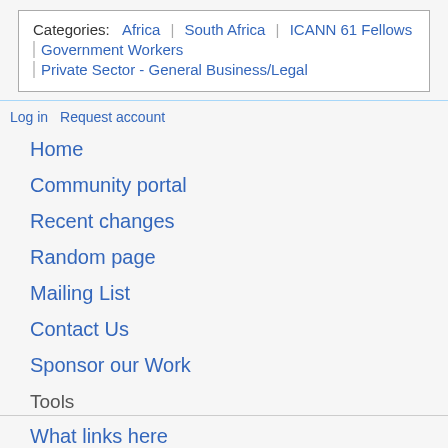Categories: Africa | South Africa | ICANN 61 Fellows | Government Workers | Private Sector - General Business/Legal
Log in
Request account
Home
Community portal
Recent changes
Random page
Mailing List
Contact Us
Sponsor our Work
Tools
What links here
Related changes